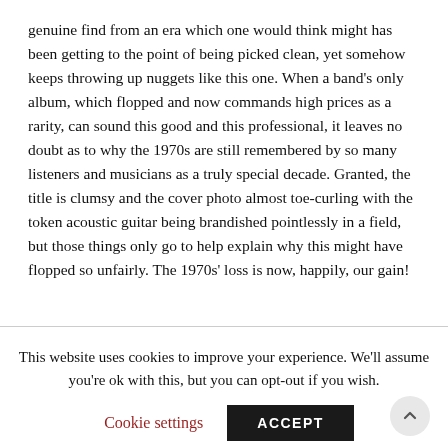genuine find from an era which one would think might has been getting to the point of being picked clean, yet somehow keeps throwing up nuggets like this one. When a band's only album, which flopped and now commands high prices as a rarity, can sound this good and this professional, it leaves no doubt as to why the 1970s are still remembered by so many listeners and musicians as a truly special decade. Granted, the title is clumsy and the cover photo almost toe-curling with the token acoustic guitar being brandished pointlessly in a field, but those things only go to help explain why this might have flopped so unfairly. The 1970s' loss is now, happily, our gain!
This website uses cookies to improve your experience. We'll assume you're ok with this, but you can opt-out if you wish.
Cookie settings
ACCEPT